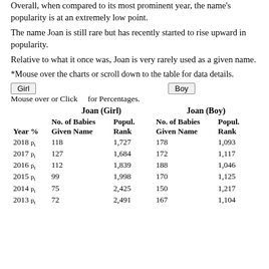Overall, when compared to its most prominent year, the name's popularity is at an extremely low point.
The name Joan is still rare but has recently started to rise upward in popularity.
Relative to what it once was, Joan is very rarely used as a given name.
*Mouse over the charts or scroll down to the table for data details.
Mouse over or Click    for Percentages.
| Year % | Joan (Girl) No. of Babies Given Name | Joan (Girl) Popul. Rank | Joan (Boy) No. of Babies Given Name | Joan (Boy) Popul. Rank |
| --- | --- | --- | --- | --- |
| 2018 | 118 | 1,727 | 178 | 1,093 |
| 2017 | 127 | 1,684 | 172 | 1,117 |
| 2016 | 112 | 1,839 | 188 | 1,046 |
| 2015 | 99 | 1,998 | 170 | 1,125 |
| 2014 | 75 | 2,425 | 150 | 1,217 |
| 2013 | 72 | 2,491 | 167 | 1,104 |